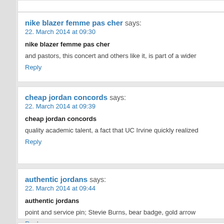nike blazer femme pas cher says:
22. March 2014 at 09:30
nike blazer femme pas cher
and pastors, this concert and others like it, is part of a wider
Reply
cheap jordan concords says:
22. March 2014 at 09:39
cheap jordan concords
quality academic talent, a fact that UC Irvine quickly realized
Reply
authentic jordans says:
22. March 2014 at 09:44
authentic jordans
point and service pin; Stevie Burns, bear badge, gold arrow
Reply
ArcheAge RMT says:
22. March 2014 at 09:49